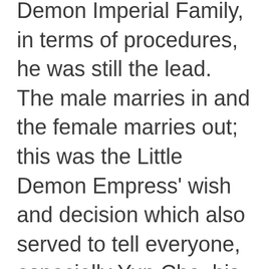Demon Imperial Family, in terms of procedures, he was still the lead. The male marries in and the female marries out; this was the Little Demon Empress' wish and decision which also served to tell everyone, especially Yun Che, his position in the Little Demon Empress' heart.
For this wedding, regardless whether it was the scale, the ceremony, or the excitement of